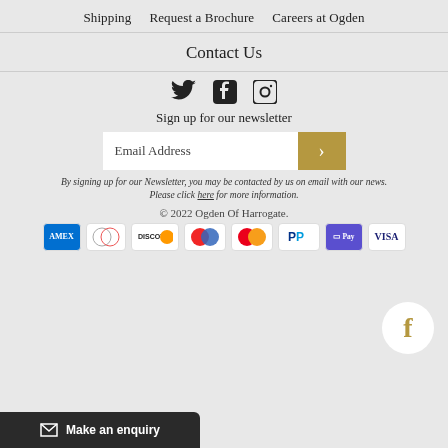Shipping   Request a Brochure   Careers at Ogden
Contact Us
[Figure (other): Social media icons: Twitter, Facebook, Instagram]
Sign up for our newsletter
Email Address
By signing up for our Newsletter, you may be contacted by us on email with our news. Please click here for more information.
© 2022 Ogden Of Harrogate.
[Figure (logo): Facebook circular logo button in gold on white circle]
[Figure (other): Payment method logos: AMEX, Diners Club, Discover, Maestro, Mastercard, PayPal, G Pay, Visa]
Make an enquiry